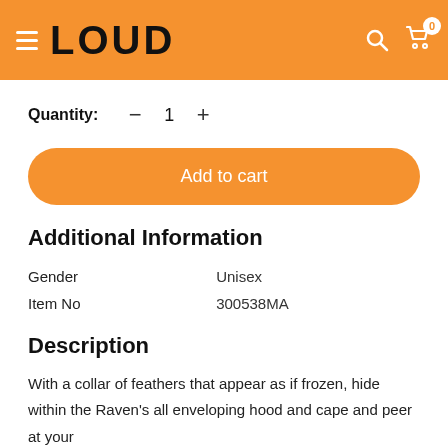[Figure (logo): LOUD brand logo with orange header background, hamburger menu icon on the left, and search/cart icons on the right. Cart shows badge with 0.]
Quantity: − 1 +
Add to cart
Additional Information
| Gender | Unisex |
| Item No | 300538MA |
Description
With a collar of feathers that appear as if frozen, hide within the Raven's all enveloping hood and cape and peer at your